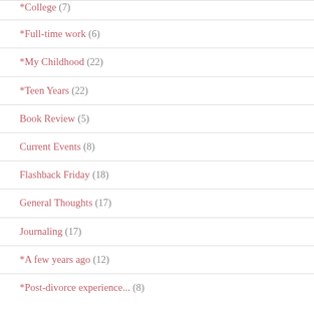*College (7)
*Full-time work (6)
*My Childhood (22)
*Teen Years (22)
Book Review (5)
Current Events (8)
Flashback Friday (18)
General Thoughts (17)
Journaling (17)
*A few years ago (12)
*Post-divorce experience...  (8)